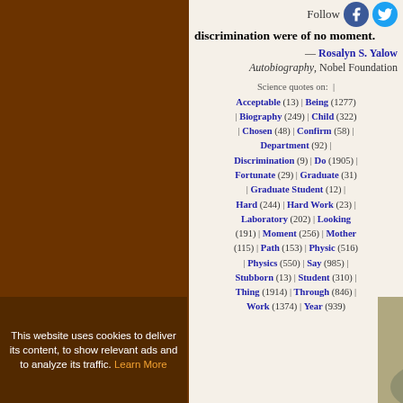discrimination were of no moment.
Follow
— Rosalyn S. Yalow
Autobiography, Nobel Foundation
Science quotes on: | Acceptable (13) | Being (1277) | Biography (249) | Child (322) | Chosen (48) | Confirm (58) | Department (92) | Discrimination (9) | Do (1905) | Fortunate (29) | Graduate (31) | Graduate Student (12) | Hard (244) | Hard Work (23) | Laboratory (202) | Looking (191) | Moment (256) | Mother (115) | Path (153) | Physic (516) | Physics (550) | Say (985) | Stubborn (13) | Student (310) | Thing (1914) | Through (846) | Work (1374) | Year (939)
[Figure (photo): Advertisement showing a person's head with 'Pub' text and an orange box with text 'exta It ou']
This website uses cookies to deliver its content, to show relevant ads and to analyze its traffic. Learn More